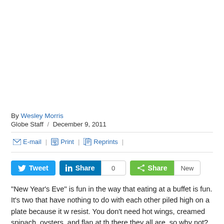By Wesley Morris
Globe Staff / December 9, 2011
E-mail | Print | Reprints |
Tweet | Share 0 | Share New
"New Year's Eve'' is fun in the way that eating at a buffet is fun. It's two that have nothing to do with each other piled high on a plate because it w resist. You don't need hot wings, creamed spinach, oysters, and flan at th there they all are, so why not? It's the same with the stars here. Hilary Sw